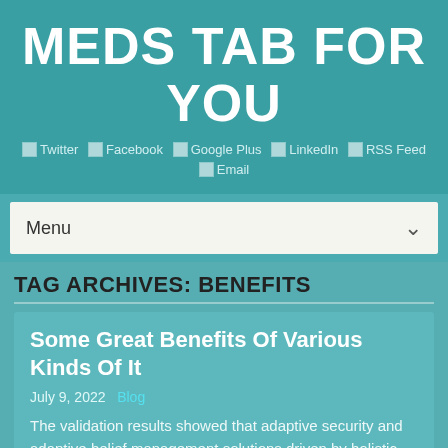MEDS TAB FOR YOU
Twitter  Facebook  Google Plus  LinkedIn  RSS Feed  Email
Menu
TAG ARCHIVES: BENEFITS
Some Great Benefits Of Various Kinds Of It
July 9, 2022   Blog
The validation results showed that adaptive security and adaptive belief management solutions driven by holistic systematic security monitoring and measurement, and security metrics are relevant within the deployment of distributed enterprise-critical programs, and enhance the flexibility and security of the system by adapting to